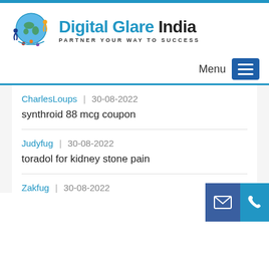[Figure (logo): Digital Glare India logo with globe and human figures icon, text 'Digital Glare India' and tagline 'PARTNER YOUR WAY TO SUCCESS']
Menu
CharlesLoups | 30-08-2022
synthroid 88 mcg coupon
Judyfug | 30-08-2022
toradol for kidney stone pain
Zakfug | 30-08-2022